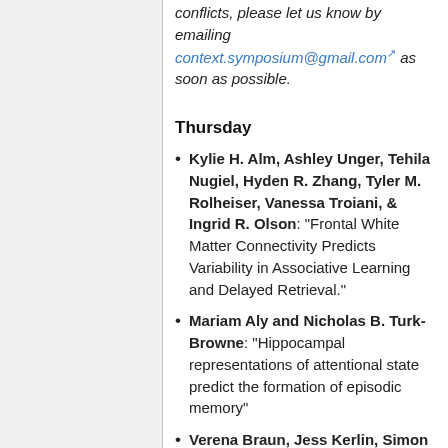conflicts, please let us know by emailing context.symposium@gmail.com as soon as possible.
Thursday
Kylie H. Alm, Ashley Unger, Tehila Nugiel, Hyden R. Zhang, Tyler M. Rolheiser, Vanessa Troiani, & Ingrid R. Olson: "Frontal White Matter Connectivity Predicts Variability in Associative Learning and Delayed Retrieval."
Mariam Aly and Nicholas B. Turk-Browne: "Hippocampal representations of attentional state predict the formation of episodic memory"
Verena Braun, Jess Kerlin, Simon ...